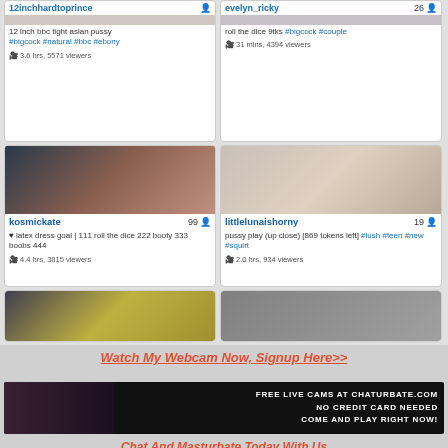[Figure (screenshot): Webcam grid UI showing streamer cards: top-left partial card with username '12inchhardtoprince', top-right partial card 'evelyn_ricky' with count 26, middle-left card 'kosmickate' count 99, middle-right card 'littlelunaishorny' count 19, bottom partial row cards]
Watch My Webcam Now, Signup Here>>
[Figure (photo): Chaturbate banner ad: FREE LIVE CAMS AT CHATURBATE.COM NO CREDIT CARD NEEDED COME AND PLAY RIGHT NOW!]
Chat And Masturbate Today With Us